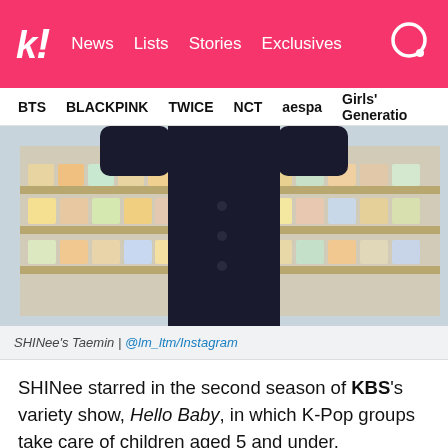k! News  Lists  Stories  Exclusives
BTS  BLACKPINK  TWICE  NCT  aespa  Girls' Generation
[Figure (photo): Person in black outfit standing in front of store shelves stocked with food products/cans]
SHINee's Taemin | @lm_ltm/Instagram
SHINee starred in the second season of KBS's variety show, Hello Baby, in which K-Pop groups take care of children aged 5 and under.